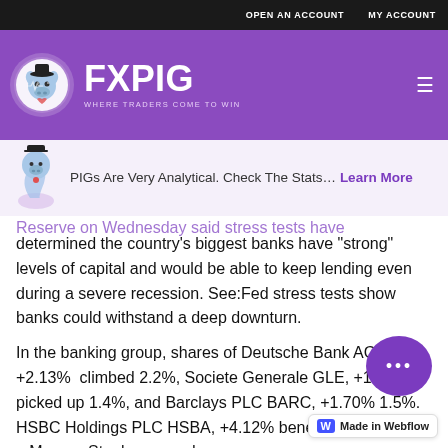OPEN AN ACCOUNT   MY ACCOUNT
[Figure (logo): FXPIG logo with pig mascot and tagline WHERE TRADERS COME TO WIN on purple background]
PIGs Are Very Analytical. Check The Stats... Learn More
Reserve on Wednesday said stress tests have determined the country's biggest banks have "strong" levels of capital and would be able to keep lending even during a severe recession. See:Fed stress tests show banks could withstand a deep downturn.
In the banking group, shares of Deutsche Bank AG DBK, +2.13%  climbed 2.2%, Societe Generale GLE, +1.68% picked up 1.4%, and Barclays PLC BARC, +1.70% 1.5%. HSBC Holdings PLC HSBA, +4.12% benefitting also from a Morgan Stanley upgrade.